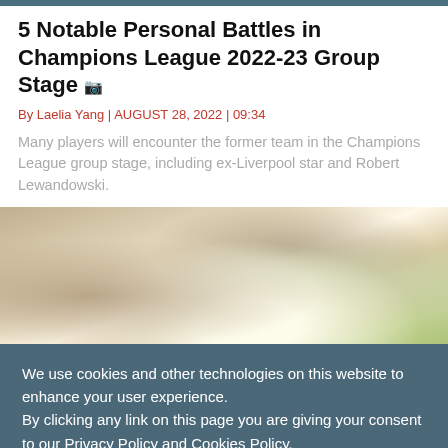5 Notable Personal Battles in Champions League 2022-23 Group Stage
By Laelia Yang | AUGUST 28, 2022 | 09:34
Many players will encounter the former team in the Champions League group stage, including ex-Liverpool star and Robert Lewandowski.
[Figure (photo): Close-up photo of two people holding hands outdoors, with soft warm and green bokeh background]
We use cookies and other technologies on this website to enhance your user experience.
By clicking any link on this page you are giving your consent to our Privacy Policy and Cookies Policy.
Ok I Agree
Learn More